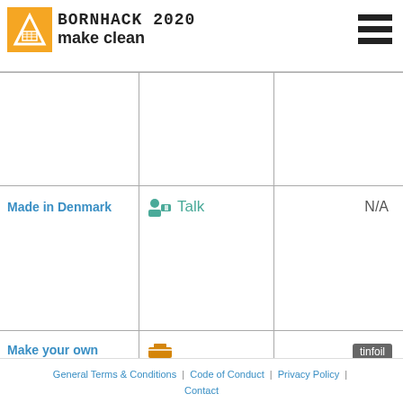[Figure (logo): BORNHACK 2020 make clean logo with orange box and text]
|  |  |  |
| --- | --- | --- |
|  |  |  |
| Made in Denmark | Talk | N/A |
| Make your own Tinfoil Fedora | Workshop | tinfoil easy |
General Terms & Conditions | Code of Conduct | Privacy Policy | Contact